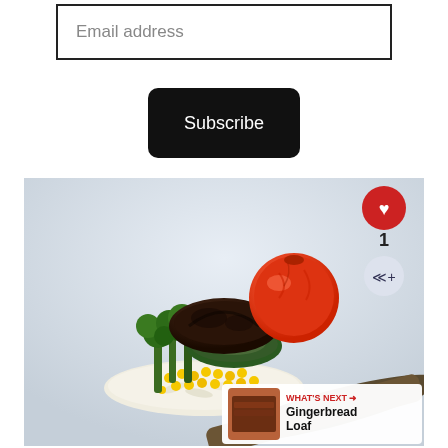Email address
Subscribe
[Figure (photo): A spoonful of food featuring grilled mushroom, roasted tomato, broccoli, corn, and rice with a share/like overlay and a 'What's Next: Gingerbread Loaf' card in the corner.]